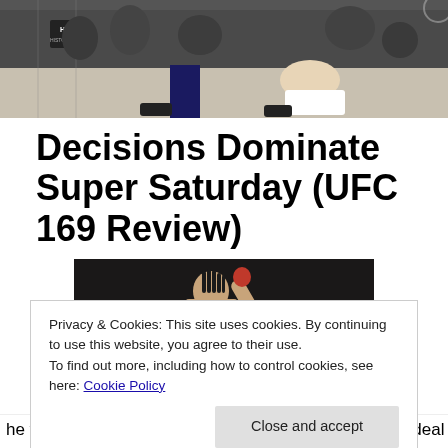[Figure (photo): Top portion of a UFC event photo showing the octagon mat area with fighters and referee legs visible, crowd in background]
Decisions Dominate Super Saturday (UFC 169 Review)
[Figure (photo): UFC fighter celebrating in the octagon, raising his arm with an opponent on the ground, arena crowd in background with sponsor signage]
Privacy & Cookies: This site uses cookies. By continuing to use this website, you agree to their use.
To find out more, including how to control cookies, see here: Cookie Policy
he was a part of the WEC and began his sponsorship deal